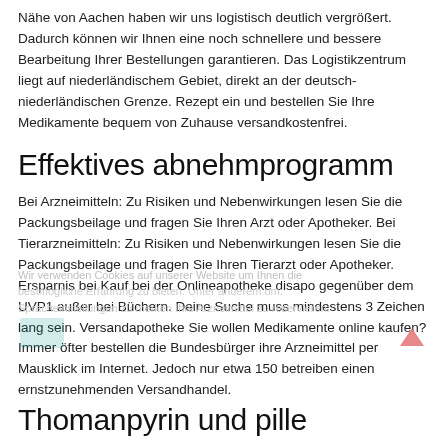Nähe von Aachen haben wir uns logistisch deutlich vergrößert. Dadurch können wir Ihnen eine noch schnellere und bessere Bearbeitung Ihrer Bestellungen garantieren. Das Logistikzentrum liegt auf niederländischem Gebiet, direkt an der deutsch-niederländischen Grenze. Rezept ein und bestellen Sie Ihre Medikamente bequem von Zuhause versandkostenfrei.
Effektives abnehmprogramm
Bei Arzneimitteln: Zu Risiken und Nebenwirkungen lesen Sie die Packungsbeilage und fragen Sie Ihren Arzt oder Apotheker. Bei Tierarzneimitteln: Zu Risiken und Nebenwirkungen lesen Sie die Packungsbeilage und fragen Sie Ihren Tierarzt oder Apotheker. Ersparnis bei Kauf bei der Onlineapotheke disapo gegenüber dem UVP1 außer bei Büchern. Deine Suche muss mindestens 3 Zeichen lang sein. Versandapotheke Sie wollen Medikamente online kaufen? Immer öfter bestellen die Bundesbürger ihre Arzneimittel per Mausklick im Internet. Jedoch nur etwa 150 betreiben einen ernstzunehmenden Versandhandel.
Thomanpyrin und pille